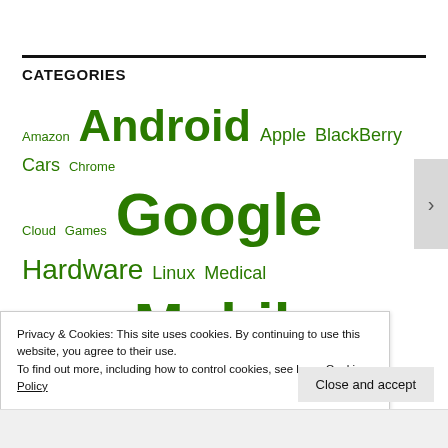CATEGORIES
Amazon Android Apple BlackBerry Cars Chrome Cloud Games Google Hardware Linux Medical Microsoft Military Mobile Carriers Mobile OS Mobile Phone Application Mobile Phones Music Networks NFC Operating System
Privacy & Cookies: This site uses cookies. By continuing to use this website, you agree to their use.
To find out more, including how to control cookies, see here: Cookie Policy
Close and accept